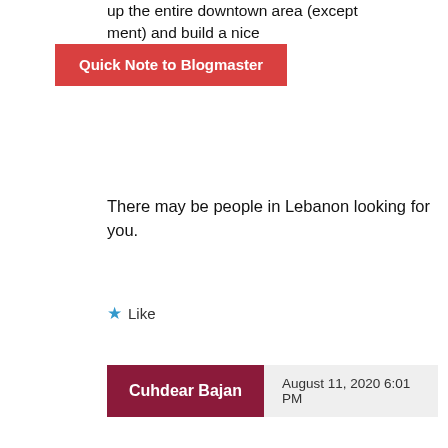up the entire downtown area (except ment) and build a nice r foreign guests."
Quick Note to Blogmaster
There may be people in Lebanon looking for you.
Like
Cuhdear Bajan — August 11, 2020 6:01 PM
Donville may well be as innocent as a newborn babe, the U.S. may well have the most corrupt justice system in the world, but I don't believe one word of Donville's as reported in Barbados today.

I am not obliged to believe the words of a convict am I?